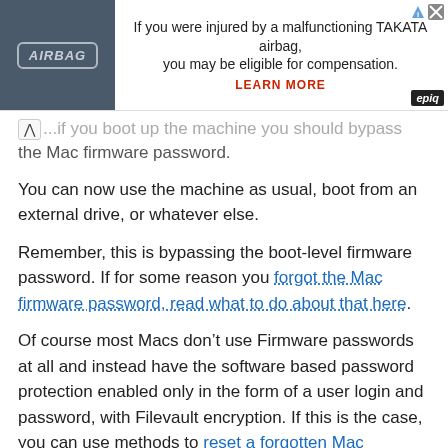[Figure (screenshot): Advertisement banner for TAKATA airbag injury compensation. Left side shows dark blue/grey car airbag with 'AIRBAG' label. Right side has text 'If you were injured by a malfunctioning TAKATA airbag, you may be eligible for compensation. LEARN MORE' with Epiq logo.]
...if you boot up the machine you should bypass the Mac firmware password.
You can now use the machine as usual, boot from an external drive, or whatever else.
Remember, this is bypassing the boot-level firmware password. If for some reason you forgot the Mac firmware password, read what to do about that here.
Of course most Macs don’t use Firmware passwords at all and instead have the software based password protection enabled only in the form of a user login and password, with Filevault encryption. If this is the case, you can use methods to reset a forgotten Mac password to get around the user login completely (instructions for